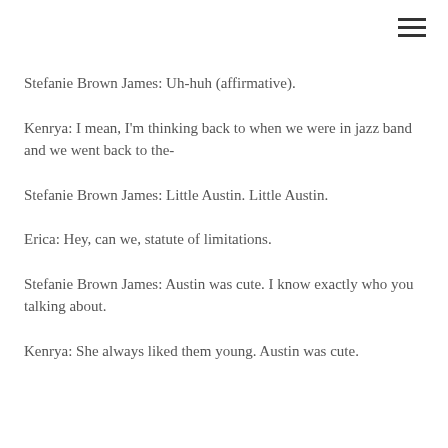Stefanie Brown James: Uh-huh (affirmative).
Kenrya: I mean, I'm thinking back to when we were in jazz band and we went back to the-
Stefanie Brown James: Little Austin. Little Austin.
Erica: Hey, can we, statute of limitations.
Stefanie Brown James: Austin was cute. I know exactly who you talking about.
Kenrya: She always liked them young. Austin was cute.